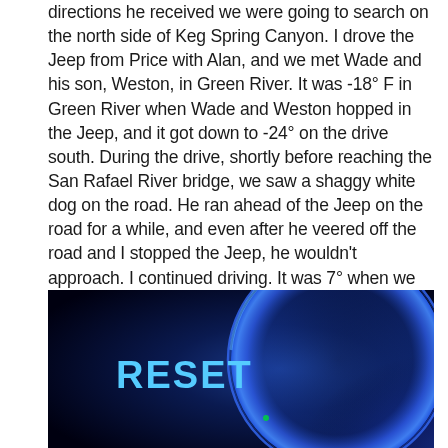directions he received we were going to search on the north side of Keg Spring Canyon. I drove the Jeep from Price with Alan, and we met Wade and his son, Weston, in Green River. It was -18° F in Green River when Wade and Weston hopped in the Jeep, and it got down to -24° on the drive south. During the drive, shortly before reaching the San Rafael River bridge, we saw a shaggy white dog on the road. He ran ahead of the Jeep on the road for a while, and even after he veered off the road and I stopped the Jeep, he wouldn't approach. I continued driving. It was 7° when we reached the spot where Wade wanted to search. We all got out of the vehicle and started hiking, looking for any cliffs that could hold the alcove containing the inscription.
[Figure (photo): A dark photo showing a blue illuminated circle with the word RESET in bold cyan/light blue text on the left side. The background is black with blue glowing light effects.]